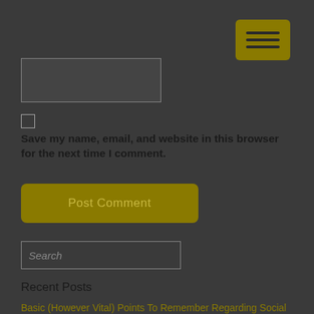[Figure (other): Navigation menu button (hamburger icon) with dark olive/gold background and three horizontal bars]
[Figure (other): Empty text input field with dark background and gray border]
[Figure (other): Unchecked checkbox with gray border]
Save my name, email, and website in this browser for the next time I comment.
[Figure (other): Post Comment button with dark olive/gold background and matching text]
[Figure (other): Search input field with placeholder text 'Search']
Recent Posts
Basic (However Vital) Points To Remember Regarding Social Media